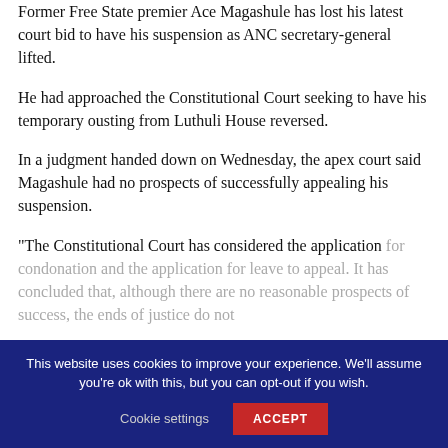Former Free State premier Ace Magashule has lost his latest court bid to have his suspension as ANC secretary-general lifted.
He had approached the Constitutional Court seeking to have his temporary ousting from Luthuli House reversed.
In a judgment handed down on Wednesday, the apex court said Magashule had no prospects of successfully appealing his suspension.
“The Constitutional Court has considered the application for condonation and the application for leave to appeal. It has concluded that, although there are no reasonable prospects of success, the ends of justice do not…
This website uses cookies to improve your experience. We’ll assume you’re ok with this, but you can opt-out if you wish.
Cookie settings
ACCEPT